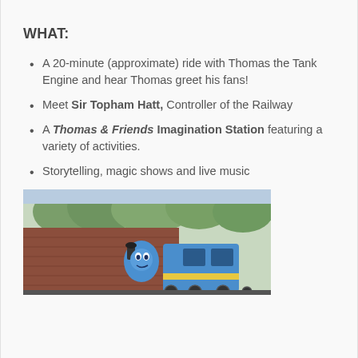WHAT:
A 20-minute (approximate) ride with Thomas the Tank Engine and hear Thomas greet his fans!
Meet Sir Topham Hatt, Controller of the Railway
A Thomas & Friends Imagination Station featuring a variety of activities.
Storytelling, magic shows and live music
[Figure (photo): Photo of a blue Thomas the Tank Engine train alongside a red-brown railroad structure, with trees in the background.]